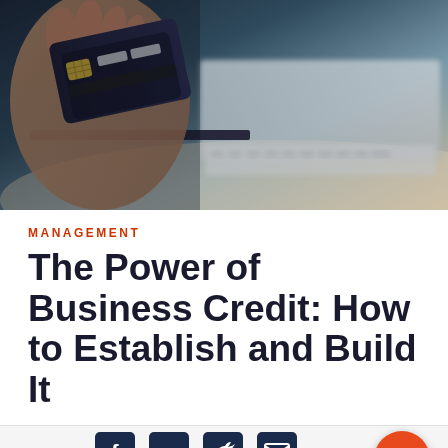[Figure (photo): Hand holding a credit card over a laptop and tablet, blurred business setting background]
MANAGEMENT
The Power of Business Credit: How to Establish and Build It
SHARE [Facebook] [LinkedIn] [Twitter] [Email]